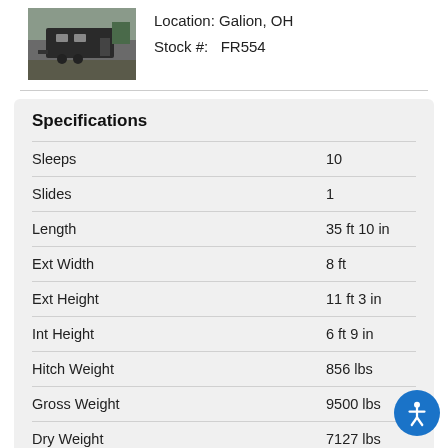[Figure (photo): Photo of a travel trailer/camper on a lot]
Location: Galion, OH
Stock #:   FR554
| Specification | Value |
| --- | --- |
| Sleeps | 10 |
| Slides | 1 |
| Length | 35 ft 10 in |
| Ext Width | 8 ft |
| Ext Height | 11 ft 3 in |
| Int Height | 6 ft 9 in |
| Hitch Weight | 856 lbs |
| Gross Weight | 9500 lbs |
| Dry Weight | 7127 lbs |
| Cargo Weight | 2373 lbs |